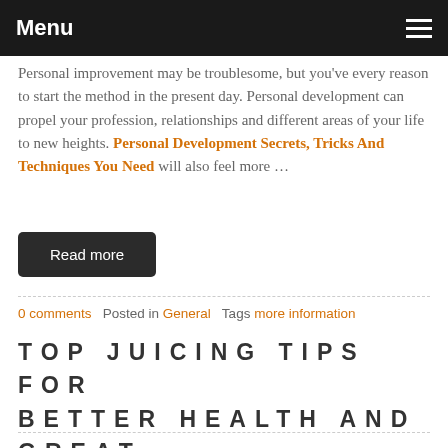Menu
Personal improvement may be troublesome, but you've every reason to start the method in the present day. Personal development can propel your profession, relationships and different areas of your life to new heights. Personal Development Secrets, Tricks And Techniques You Need will also feel more …
Read more
0 comments   Posted in General   Tags more information
TOP JUICING TIPS FOR BETTER HEALTH AND GREAT TASTE
October 2, 2019
Juicing is a nutritionally sound follow that helps to